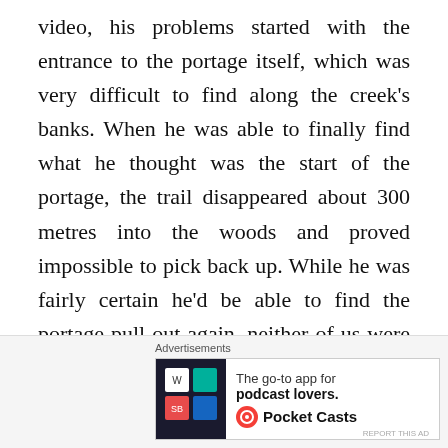video, his problems started with the entrance to the portage itself, which was very difficult to find along the creek's banks. When he was able to finally find what he thought was the start of the portage, the trail disappeared about 300 metres into the woods and proved impossible to pick back up. While he was fairly certain he'd be able to find the portage pull out again, neither of us were looking forward to what we assumed would be hours of searching and bushwhacking en route to Turcotte.
So, here's the good
[Figure (other): Gray overlay rectangle with close/dismiss button (X circle) partially covering the text below]
Advertisements
[Figure (other): Advertisement banner for Pocket Casts app — 'The go-to app for podcast lovers.' with Pocket Casts logo]